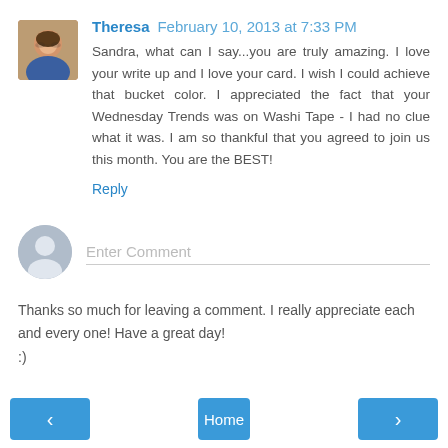[Figure (photo): Avatar photo of Theresa, a woman with glasses]
Theresa February 10, 2013 at 7:33 PM
Sandra, what can I say...you are truly amazing. I love your write up and I love your card. I wish I could achieve that bucket color. I appreciated the fact that your Wednesday Trends was on Washi Tape - I had no clue what it was. I am so thankful that you agreed to join us this month. You are the BEST!
Reply
[Figure (illustration): Generic user avatar silhouette]
Enter Comment
Thanks so much for leaving a comment. I really appreciate each and every one! Have a great day!
:)
< Home >